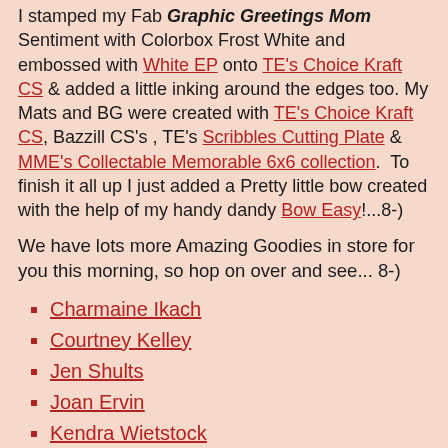I stamped my Fab Graphic Greetings Mom Sentiment with Colorbox Frost White and embossed with White EP onto TE's Choice Kraft CS & added a little inking around the edges too. My Mats and BG were created with TE's Choice Kraft CS, Bazzill CS's , TE's Scribbles Cutting Plate & MME's Collectable Memorable 6x6 collection.  To finish it all up I just added a Pretty little bow created with the help of my handy dandy Bow Easy!...8-)
We have lots more Amazing Goodies in store for you this morning, so hop on over and see... 8-)
Charmaine Ikach
Courtney Kelley
Jen Shults
Joan Ervin
Kendra Wietstock
Kerri Michaud
Sankari Wegman
Shannon Wilson (The last one)